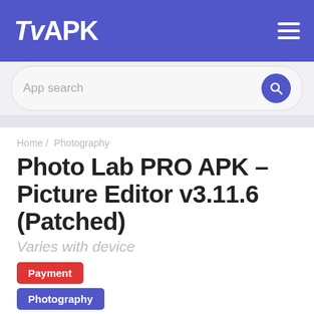TvAPK
App search
Home / Photography
Photo Lab PRO APK – Picture Editor v3.11.6 (Patched)
Varies with device
Payment
Photography
Enhance your photos with over 640 beautiful frames, effects, filters or montages! Photo Lab PRO is an easy, quick and fun photo editor. You